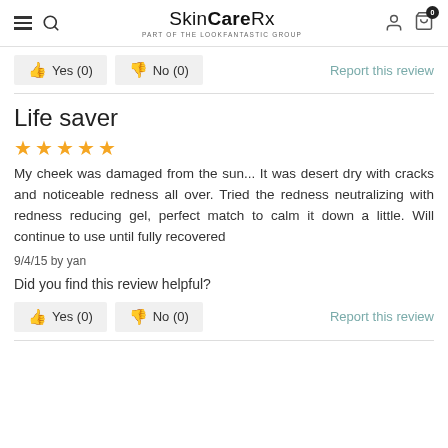SkinCareRx part of the LOOKFANTASTIC group
Yes (0)   No (0)   Report this review
Life saver
★★★★★
My cheek was damaged from the sun... It was desert dry with cracks and noticeable redness all over. Tried the redness neutralizing with redness reducing gel, perfect match to calm it down a little. Will continue to use until fully recovered
9/4/15 by yan
Did you find this review helpful?
Yes (0)   No (0)   Report this review